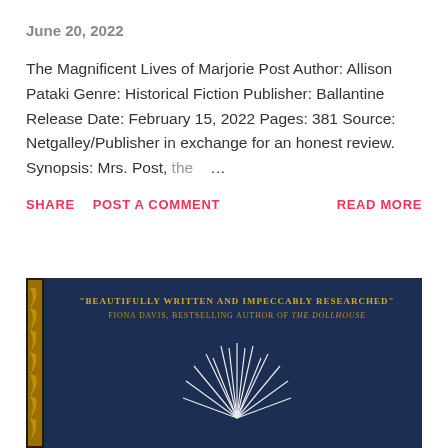June 20, 2022
The Magnificent Lives of Marjorie Post Author: Allison Pataki Genre: Historical Fiction Publisher: Ballantine Release Date: February 15, 2022 Pages: 381 Source: Netgalley/Publisher in exchange for an honest review. Synopsis: Mrs. Post, the …
SHARE   POST A COMMENT   READ MORE
[Figure (photo): Book cover with dark navy blue background, gold decorative border, text reading 'BEAUTIFULLY WRITTEN AND IMPECCABLY RESEARCHED' FIONA DAVIS, BESTSELLING AUTHOR OF THE DOLLHOUSE, with a firework/starburst design in white lines]